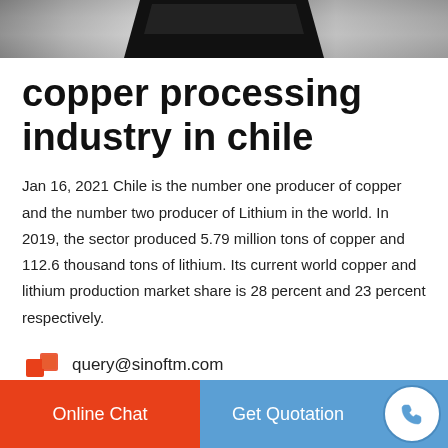[Figure (photo): Top strip showing a dark industrial machine (likely mining/processing equipment) photographed from above, with grey metallic tones]
copper processing industry in chile
Jan 16, 2021 Chile is the number one producer of copper and the number two producer of Lithium in the world. In 2019, the sector produced 5.79 million tons of copper and 112.6 thousand tons of lithium. Its current world copper and lithium production market share is 28 percent and 23 percent respectively.
query@sinoftm.com
Online Chat | Get Quotation